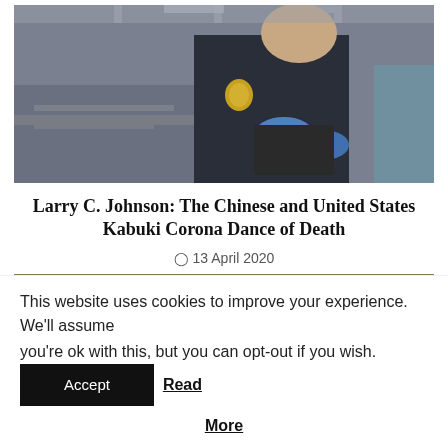[Figure (photo): A customs/border patrol officer in dark uniform with a badge, wearing blue gloves, examining a document or tablet at what appears to be an airport or border checkpoint.]
Larry C. Johnson: The Chinese and United States Kabuki Corona Dance of Death
13 April 2020
[Figure (photo): Partial view of a second image showing what appears to be objects on a wooden surface, partially cut off.]
This website uses cookies to improve your experience. We'll assume you're ok with this, but you can opt-out if you wish.
Accept
Read More